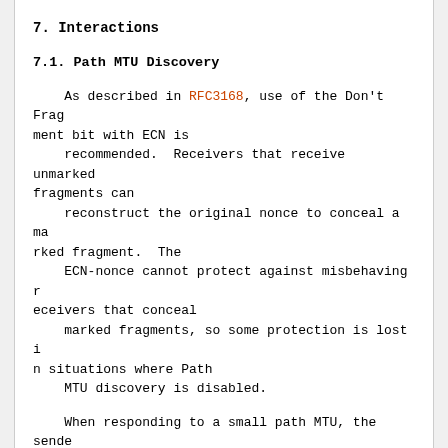7.  Interactions
7.1.  Path MTU Discovery
As described in RFC3168, use of the Don't Fragment bit with ECN is
    recommended.  Receivers that receive unmarked fragments can
    reconstruct the original nonce to conceal a marked fragment.  The
    ECN-nonce cannot protect against misbehaving receivers that conceal
    marked fragments, so some protection is lost in situations where Path
    MTU discovery is disabled.
When responding to a small path MTU, the sender will retransmit a
    smaller frame in place of a larger one.  Since these smaller packets
    are retransmissions, they will be ECN-incapable and bear no nonce.